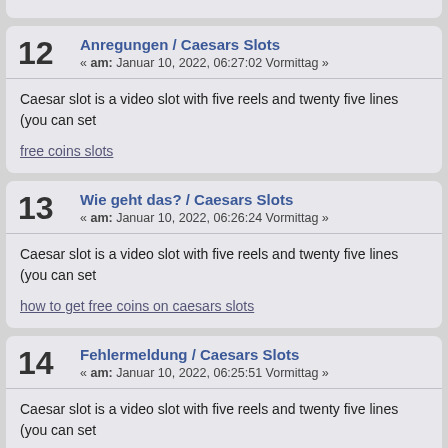12 Anregungen / Caesars Slots « am: Januar 10, 2022, 06:27:02 Vormittag »
Caesar slot is a video slot with five reels and twenty five lines (you can set
free coins slots
13 Wie geht das? / Caesars Slots « am: Januar 10, 2022, 06:26:24 Vormittag »
Caesar slot is a video slot with five reels and twenty five lines (you can set
how to get free coins on caesars slots
14 Fehlermeldung / Caesars Slots « am: Januar 10, 2022, 06:25:51 Vormittag »
Caesar slot is a video slot with five reels and twenty five lines (you can set